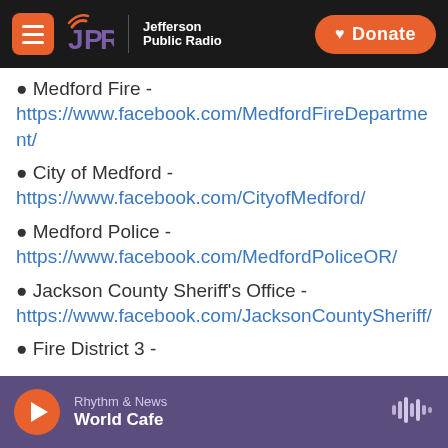JPR Jefferson Public Radio | Donate
Medford Fire - https://www.facebook.com/MedfordFireDepartment/
City of Medford - https://www.facebook.com/CityofMedford/
Medford Police - https://www.facebook.com/MedfordPoliceOR/
Jackson County Sheriff's Office - https://www.facebook.com/JacksonCountySheriff/
Fire District 3 -
Rhythm & News | World Cafe